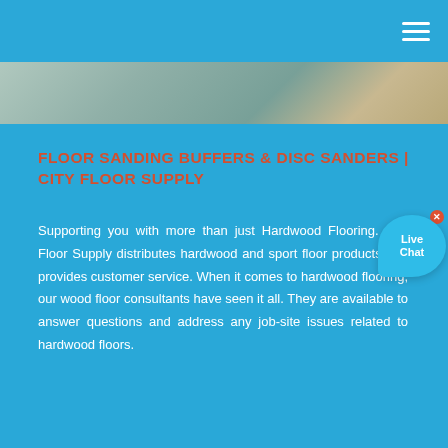[Figure (photo): Hero image of hardwood flooring surface]
FLOOR SANDING BUFFERS & DISC SANDERS | CITY FLOOR SUPPLY
Supporting you with more than just Hardwood Flooring. City Floor Supply distributes hardwood and sport floor products and provides customer service. When it comes to hardwood flooring, our wood floor consultants have seen it all. They are available to answer questions and address any job-site issues related to hardwood floors.